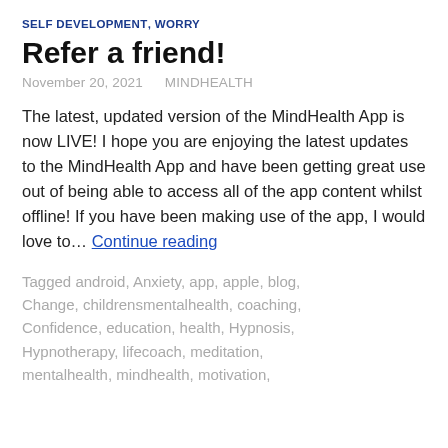SELF DEVELOPMENT, WORRY
Refer a friend!
November 20, 2021   MINDHEALTH
The latest, updated version of the MindHealth App is now LIVE! I hope you are enjoying the latest updates to the MindHealth App and have been getting great use out of being able to access all of the app content whilst offline! If you have been making use of the app, I would love to… Continue reading
Tagged android, Anxiety, app, apple, blog, Change, childrensmentalhealth, coaching, Confidence, education, health, Hypnosis, Hypnotherapy, lifecoach, meditation, mentalhealth, mindhealth, motivation,